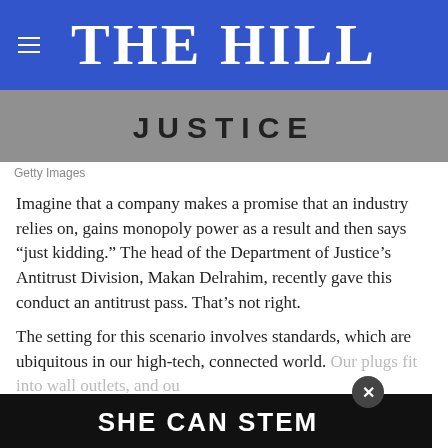THE HILL
[Figure (photo): Photo of a building stone sign reading JUSTICE, Department of Justice building exterior]
Getty Images
Imagine that a company makes a promise that an industry relies on, gains monopoly power as a result and then says “just kidding.” The head of the Department of Justice’s Antitrust Division, Makan Delrahim, recently gave this conduct an antitrust pass. That’s not right.
The setting for this scenario involves standards, which are ubiquitous in our high-tech, connected world. Our plugs fit into wall outlets, and our phones connect to compatible. Indus
[Figure (other): SHE CAN STEM advertisement overlay banner with close button]